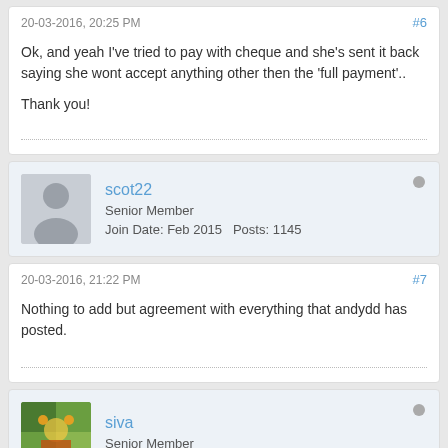20-03-2016, 20:25 PM   #6
Ok, and yeah I've tried to pay with cheque and she's sent it back saying she wont accept anything other then the 'full payment'..

Thank you!
scot22 | Senior Member | Join Date: Feb 2015  Posts: 1145
20-03-2016, 21:22 PM   #7
Nothing to add but agreement with everything that andydd has posted.
siva | Senior Member